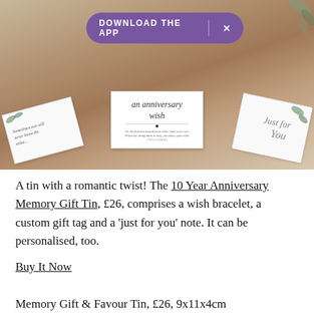[Figure (photo): A wooden slab display holding anniversary memory gift items: cards with botanical/leaf designs, a wish bracelet card labeled 'an anniversary wish', and a 'Just for You' note card. A purple download app banner overlays the top of the image.]
A tin with a romantic twist! The 10 Year Anniversary Memory Gift Tin, £26, comprises a wish bracelet, a custom gift tag and a 'just for you' note. It can be personalised, too.
Buy It Now
Memory Gift & Favour Tin, £26, 9x11x4cm